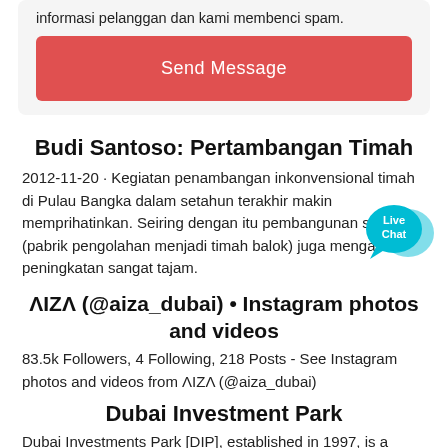informasi pelanggan dan kami membenci spam.
Send Message
Budi Santoso: Pertambangan Timah
2012-11-20 · Kegiatan penambangan inkonvensional timah di Pulau Bangka dalam setahun terakhir makin memprihatinkan. Seiring dengan itu pembangunan smelter (pabrik pengolahan menjadi timah balok) juga mengalami peningkatan sangat tajam.
[Figure (illustration): Live Chat bubble icon with speech bubbles and 'Live Chat' text in teal/cyan colors]
ΛIZΛ (@aiza_dubai) • Instagram photos and videos
83.5k Followers, 4 Following, 218 Posts - See Instagram photos and videos from ΛIZΛ (@aiza_dubai)
Dubai Investment Park
Dubai Investments Park [DIP], established in 1997, is a unique, self-contained mixed-use industrial, commercial and residential complex. Spread across 2300 hectares, Dubai Investments Park is a premier residential and business destination & a city within a city.